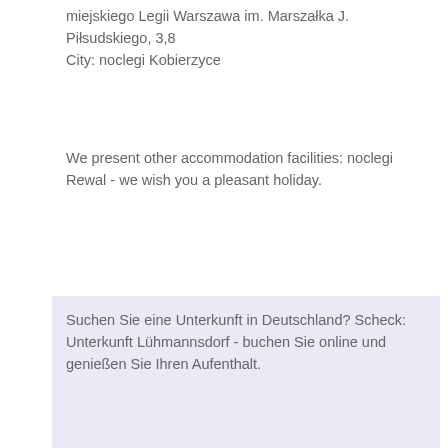miejskiego Legii Warszawa im. Marszałka J. Piłsudskiego, 3,8
City: noclegi Kobierzyce
We present other accommodation facilities: noclegi Rewal - we wish you a pleasant holiday.
Suchen Sie eine Unterkunft in Deutschland? Scheck: Unterkunft Lühmannsdorf - buchen Sie online und genießen Sie Ihren Aufenthalt.
Consigliamo anche alloggi in Italia: Alloggio Giovinazzo
Etsitkö majoitusta Suomessa? Katso: majoitukset Sastamala - Varaa online ja nauti lomastasi.
We raden ook accommodatie in België aan: Accommodatie Nieuwpoort
Hľadáte ubytovanie na Slovensku? Pozrite sa: ubytovanie Mýto pod Ďumbierom - Rezervujte online a